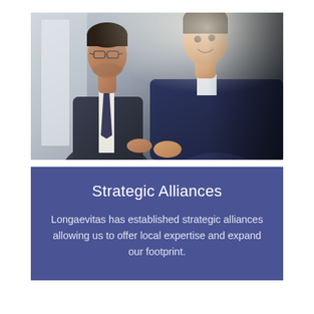[Figure (photo): Two businessmen in suits looking down at something together, one wearing glasses, smiling, in an office setting with warm lighting.]
Strategic Alliances
Longaevitas has established strategic alliances allowing us to offer local expertise and expand our footprint.